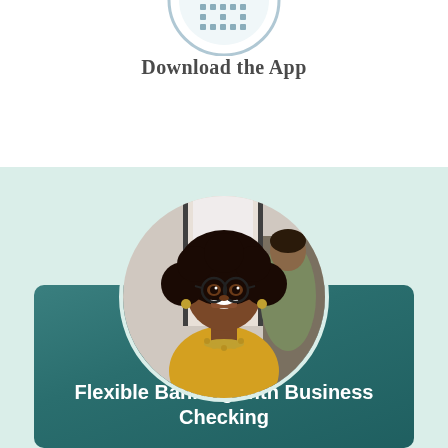[Figure (illustration): Partial circular QR code or app download graphic at top, cropped at top edge]
Download the App
[Figure (photo): Circular photo of a smiling Black woman with curly hair and glasses wearing a yellow top with a beaded necklace, in a bright office setting with another woman in the background]
Flexible Banking with Business Checking